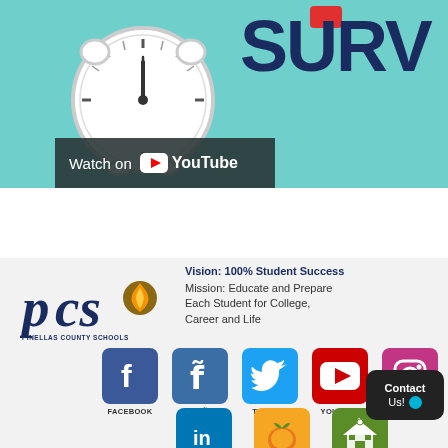[Figure (illustration): Teal banner with alarm clock illustration on left and large dark blue 'SURV' text on right with red rounded rectangle accent above. A YouTube watch bar overlays the lower left of the banner.]
[Figure (logo): Pinellas County Schools (PCS) logo with navy blue letters PCS and a gold flame/torch icon, with text 'PINELLAS COUNTY SCHOOLS' below.]
Vision: 100% Student Success
Mission: Educate and Prepare Each Student for College, Career and Life
[Figure (infographic): Social media icons row: Facebook (blue), Español Facebook (blue), Twitter (light blue), YouTube (red), Instagram (purple magenta), with labels below each. Second row: LinkedIn (blue), Peachjar (orange), Schools On (green).]
Contact Us!